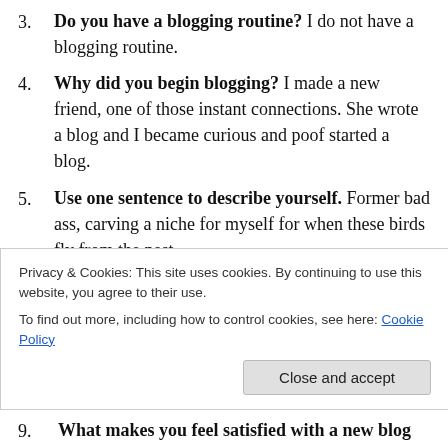3. Do you have a blogging routine? I do not have a blogging routine.
4. Why did you begin blogging? I made a new friend, one of those instant connections. She wrote a blog and I became curious and poof started a blog.
5. Use one sentence to describe yourself. Former bad ass, carving a niche for myself for when these birds fly from the nest.
6. What makes you happy on a daily basis? Family, friends and spending time on meaningful endeavors.
7. What would you say to yourself if today was your
Privacy & Cookies: This site uses cookies. By continuing to use this website, you agree to their use. To find out more, including how to control cookies, see here: Cookie Policy
9. What makes you feel satisfied with a new blog